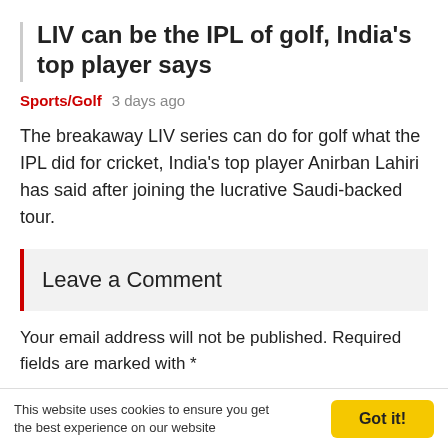LIV can be the IPL of golf, India's top player says
Sports/Golf   3 days ago
The breakaway LIV series can do for golf what the IPL did for cricket, India's top player Anirban Lahiri has said after joining the lucrative Saudi-backed tour.
Leave a Comment
Your email address will not be published. Required fields are marked with *
This website uses cookies to ensure you get the best experience on our website   Got it!